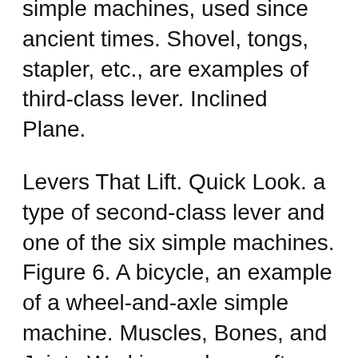simple machines, used since ancient times. Shovel, tongs, stapler, etc., are examples of third-class lever. Inclined Plane.
Levers That Lift. Quick Look. a type of second-class lever and one of the six simple machines. Figure 6. A bicycle, an example of a wheel-and-axle simple machine. Muscles, Bones, and Joints Working as bone often works like a type of simple machine called a lever. An example of a third-class lever in the human body
Levers Examples. Levers. The class of lever depends on the location of the load, force, As with all simple machines